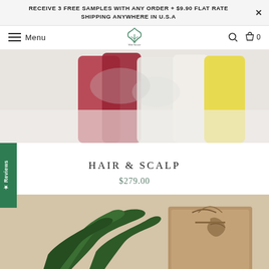RECEIVE 3 FREE SAMPLES WITH ANY ORDER + $9.90 FLAT RATE SHIPPING ANYWHERE IN U.S.A
[Figure (screenshot): Navigation bar with hamburger menu (Menu), Wild Nature logo center, search icon and shopping bag icon with 0 count on right]
[Figure (photo): Blurred product bottles in red, white, and yellow colors lined up]
★ Reviews
HAIR & SCALP
$279.00
[Figure (photo): Wrapped gift box with kraft paper, twine bow, and evergreen cedar/pine branch decoration]